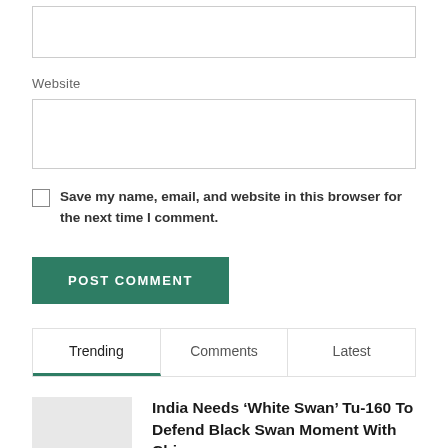Website
Save my name, email, and website in this browser for the next time I comment.
POST COMMENT
Trending
Comments
Latest
India Needs ‘White Swan’ Tu-160 To Defend Black Swan Moment With China
AUGUST 14, 2022
Thailand to join COVAX, acknowledging low